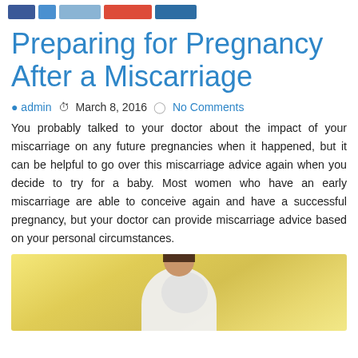[Social share buttons: Facebook, Twitter, light blue, red/Google+, dark blue/LinkedIn]
Preparing for Pregnancy After a Miscarriage
admin  March 8, 2016  No Comments
You probably talked to your doctor about the impact of your miscarriage on any future pregnancies when it happened, but it can be helpful to go over this miscarriage advice again when you decide to try for a baby. Most women who have an early miscarriage are able to conceive again and have a successful pregnancy, but your doctor can provide miscarriage advice based on your personal circumstances.
[Figure (photo): Pregnant woman in white top holding her belly, with warm yellow/golden bokeh background]